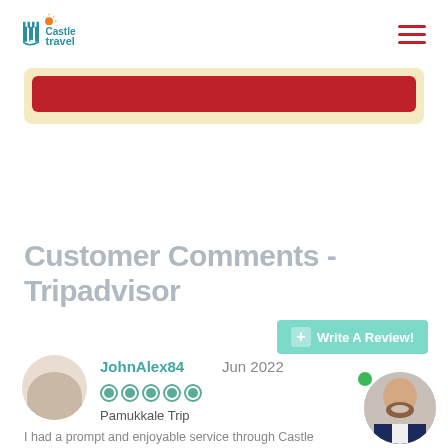[Figure (logo): Castle Travel logo with castle icon and sun graphic, teal and orange colors]
[Figure (other): Hamburger menu icon with three red horizontal lines]
[Figure (other): Red button bar inside a cream/yellow rounded box]
Customer Comments - Tripadvisor
[Figure (other): Write A Review! button in teal/mint green color with plus icon]
[Figure (photo): Circular profile photo placeholder with silhouette]
JohnAlex84  Jun 2022
[Figure (other): Five Tripadvisor rating circles (all filled green) indicating 5-star rating]
Pamukkale Trip
I had a prompt and enjoyable service through Castle Tours. We were a group of 14 and the guide and driver...
[Figure (photo): Staff member circular photo - smiling bald man with beard in suit]
[Figure (other): Green online status dot]